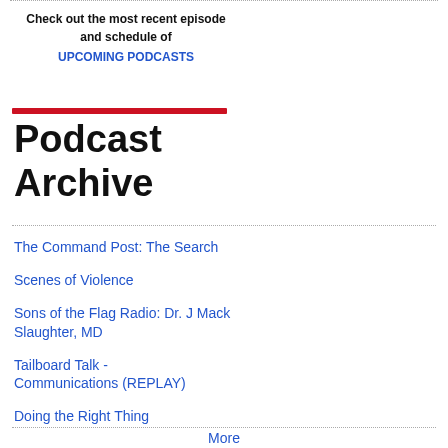Check out the most recent episode and schedule of UPCOMING PODCASTS
Podcast Archive
The Command Post: The Search
Scenes of Violence
Sons of the Flag Radio: Dr. J Mack Slaughter, MD
Tailboard Talk - Communications (REPLAY)
Doing the Right Thing
More